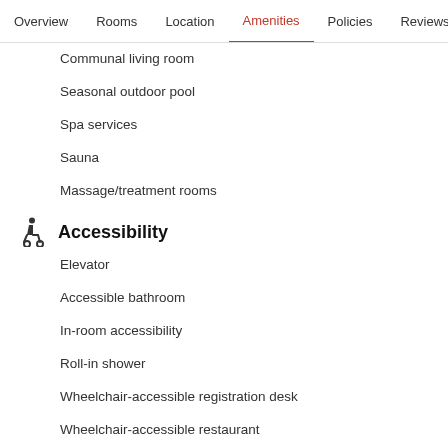Overview  Rooms  Location  Amenities  Policies  Reviews
Communal living room
Seasonal outdoor pool
Spa services
Sauna
Massage/treatment rooms
Accessibility
Elevator
Accessible bathroom
In-room accessibility
Roll-in shower
Wheelchair-accessible registration desk
Wheelchair-accessible restaurant
Languages
English
Russian